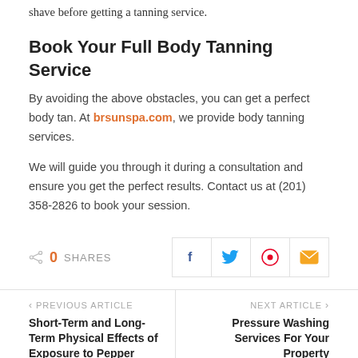shave before getting a tanning service.
Book Your Full Body Tanning Service
By avoiding the above obstacles, you can get a perfect body tan. At brsunspa.com, we provide body tanning services.
We will guide you through it during a consultation and ensure you get the perfect results. Contact us at (201) 358-2826 to book your session.
0 SHARES
[Figure (other): Social share buttons: Facebook, Twitter, Pinterest, Email]
PREVIOUS ARTICLE
Short-Term and Long-Term Physical Effects of Exposure to Pepper Spray?
NEXT ARTICLE
Pressure Washing Services For Your Property